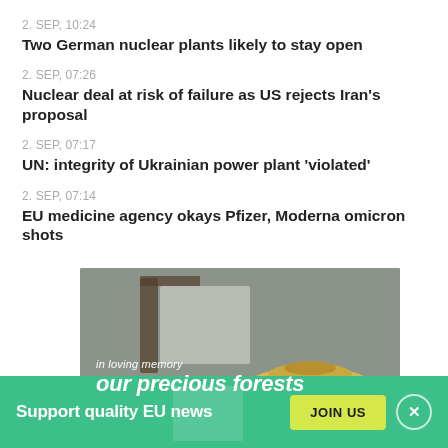2. SEP, 10:24
Two German nuclear plants likely to stay open
2. SEP, 07:26
Nuclear deal at risk of failure as US rejects Iran's proposal
2. SEP, 07:17
UN: integrity of Ukrainian power plant 'violated'
2. SEP, 07:14
EU medicine agency okays Pfizer, Moderna omicron shots
[Figure (photo): Advertisement image with text 'in loving memory our precious forests' overlaid on a photo showing a pile of wood pellets and a structure in the background]
Support quality EU news  JOIN US